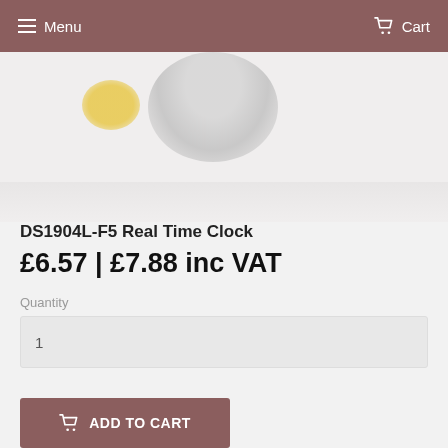Menu  Cart
[Figure (photo): Product photo of DS1904L-F5 Real Time Clock chip, shown with a yellow object and glass/metal container on a light grey background]
DS1904L-F5 Real Time Clock
£6.57 | £7.88 inc VAT
Quantity
1
ADD TO CART